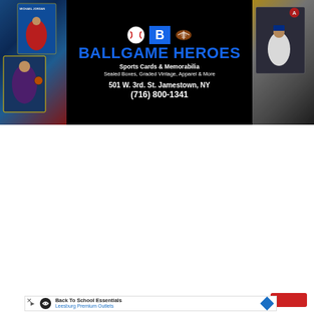[Figure (illustration): Ballgame Heroes sports cards and memorabilia banner ad with black background, blue title text 'BALLGAME HEROES', sports card images on left and right sides, address 501 W. 3rd. St. Jamestown, NY and phone (716) 800-1341]
[Figure (other): Dark red navigation bar with hamburger menu icon (three white horizontal lines) on the right side]
© WNY Media Company | All Rights Reserved.
[Figure (other): Advertisement banner: Back To School Essentials - Leesburg Premium Outlets, with play and close buttons]